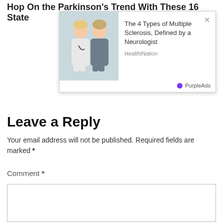Hop On the Parkinson's Trend With These 16 State...
[Figure (screenshot): Ad popup overlay showing image of doctor and patient with text: The 4 Types of Multiple Sclerosis, Defined by a Neurologist. Source: HealthiNation. Powered by PurpleAds.]
Leave a Reply
Your email address will not be published. Required fields are marked *
Comment *